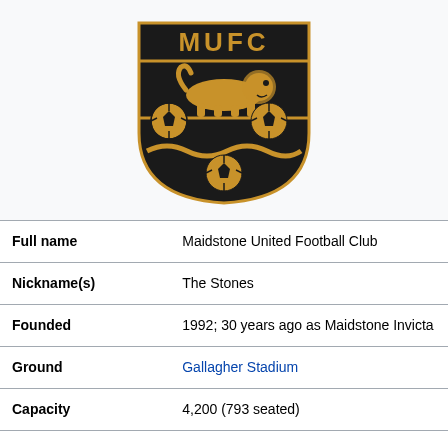[Figure (logo): Maidstone United FC crest/logo: black shield shape with gold 'MUFC' text at top, a gold lion in the middle band, three gold footballs (two top, one bottom) separated by a gold wavy line]
| Full name | Maidstone United Football Club |
| Nickname(s) | The Stones |
| Founded | 1992; 30 years ago as Maidstone Invicta |
| Ground | Gallagher Stadium |
| Capacity | 4,200 (793 seated) |